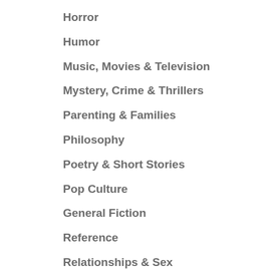Horror
Humor
Music, Movies & Television
Mystery, Crime & Thrillers
Parenting & Families
Philosophy
Poetry & Short Stories
Pop Culture
General Fiction
Reference
Relationships & Sex
Religion
Romance
Science Fiction & Fantasy